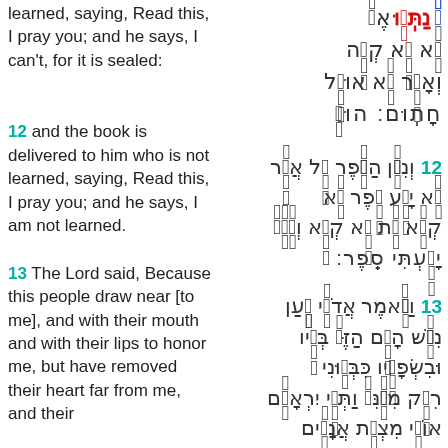learned, saying, Read this, I pray you; and he says, I can't, for it is sealed:
Hebrew text top section (Isaiah 29:11 continuation)
12 and the book is delivered to him who is not learned, saying, Read this, I pray you; and he says, I am not learned.
12 Hebrew text for verse 12
13 The Lord said, Because this people draw near [to me], and with their mouth and with their lips to honor me, but have removed their heart far from me, and their
13 Hebrew text for verse 13